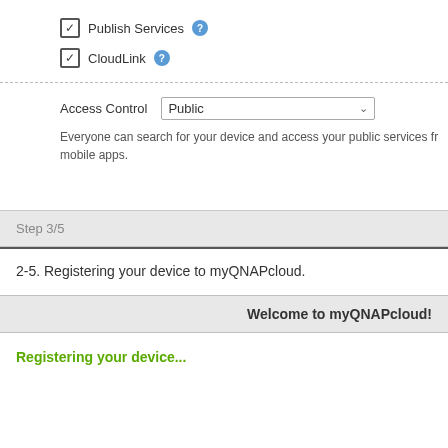Publish Services
CloudLink
Access Control  Public
Everyone can search for your device and access your public services from mobile apps.
Step 3/5
2-5. Registering your device to myQNAPcloud.
Welcome to myQNAPcloud!
Registering your device...